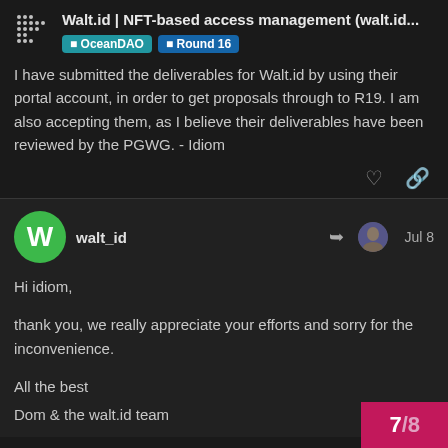Walt.id | NFT-based access management (walt.id...
OceanDAO  Round 16
I have submitted the deliverables for Walt.id by using their portal account, in order to get proposals through to R19. I am also accepting them, as I believe their deliverables have been reviewed by the PGWG. - Idiom
walt_id  Jul 8
Hi idiom,

thank you, we really appreciate your efforts and sorry for the inconvenience.

All the best
Dom & the walt.id team
7/8